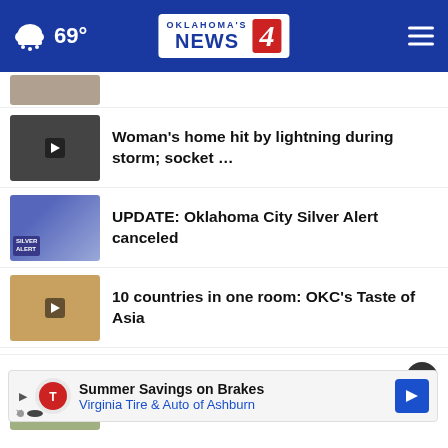Oklahoma's News 4 — 69°
Woman's home hit by lightning during storm; socket …
UPDATE: Oklahoma City Silver Alert canceled
10 countries in one room: OKC's Taste of Asia
Family of Edmond officer sues suspect's employer
Storms leave trail of damage across Edmond
[Figure (screenshot): Advertisement banner: Summer Savings on Brakes — Virginia Tire & Auto of Ashburn]
accusations inaccurate